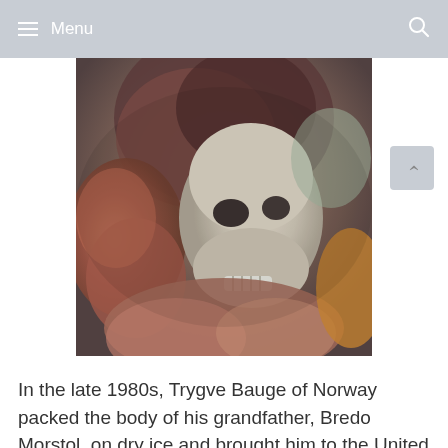Menu
[Figure (photo): Close-up photograph of a decorated skull/skeleton figure with organic-looking reddish-brown material surrounding it, appearing to be a prop or preserved specimen]
In the late 1980s, Trygve Bauge of Norway packed the body of his grandfather, Bredo Morstol, on dry ice and brought him to the United States, where he was subsequently preserved in liquid nitrogen. Returning him to dry ice in 1993, Trygve and his mother, Aud, moved dear old granddad to Nederland